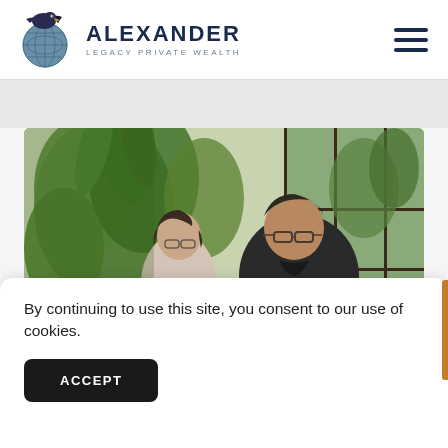[Figure (logo): Alexander Legacy Private Wealth logo — eagle and globe icon with company name]
[Figure (photo): Two middle-aged Asian adults (a woman with short hair and glasses and a man with glasses in dark turtleneck) looking at something together in a plant-filled indoor space]
By continuing to use this site, you consent to our use of cookies.
ACCEPT